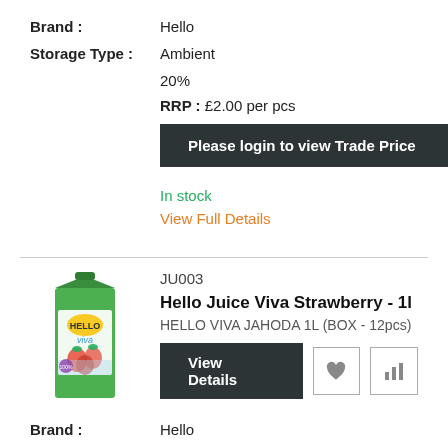Brand : Hello
Storage Type : Ambient
20%
RRP : £2.00 per pcs
Please login to view Trade Price
In stock
View Full Details
JU003
Hello Juice Viva Strawberry - 1l
HELLO VIVA JAHODA 1L (BOX - 12pcs)
View Details
Brand : Hello
Storage Type : Ambient